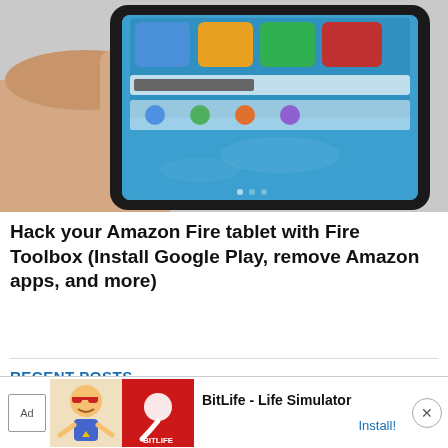[Figure (photo): A hand holding an Amazon Fire tablet showing the app store screen with colorful app icons on a blue ocean background]
Hack your Amazon Fire tablet with Fire Toolbox (Install Google Play, remove Amazon apps, and more)
RECENT POSTS
[Figure (photo): A small circuit board (microcontroller/development board) with gold-colored mounting holes and chip, photographed on a light gray background]
[Figure (other): Advertisement banner for BitLife - Life Simulator app, showing Ad label, cartoon character graphic, red icon with sperm logo, app name, and Install button]